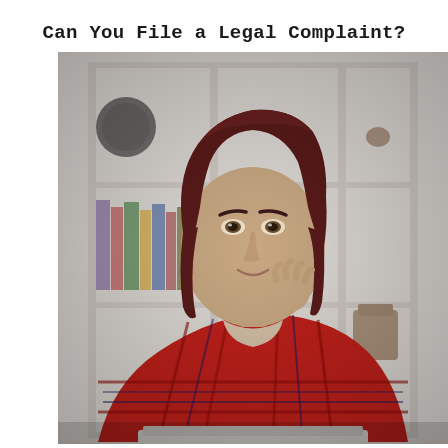Can You File a Legal Complaint?
[Figure (photo): A woman with dark reddish-brown short hair wearing a red plaid flannel shirt, sitting at a desk with a laptop, resting her chin on her hand thoughtfully. Behind her is a white bookshelf with books and decorative objects. The background is blurred.]